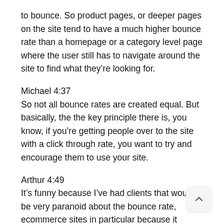to bounce. So product pages, or deeper pages on the site tend to have a much higher bounce rate than a homepage or a category level page where the user still has to navigate around the site to find what they’re looking for.
Michael 4:37
So not all bounce rates are created equal. But basically, the the key principle there is, you know, if you’re getting people over to the site with a click through rate, you want to try and encourage them to use your site.
Arthur 4:49
It’s funny because I’ve had clients that would be very paranoid about the bounce rate, ecommerce sites in particular because it